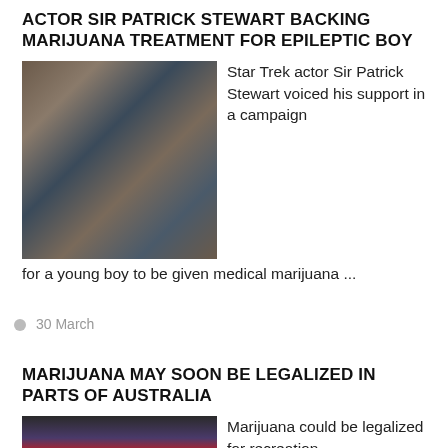ACTOR SIR PATRICK STEWART BACKING MARIJUANA TREATMENT FOR EPILEPTIC BOY
[Figure (photo): Photo of Sir Patrick Stewart with a man and a child holding a red double-decker toy bus at an outdoor event]
Star Trek actor Sir Patrick Stewart voiced his support in a campaign for a young boy to be given medical marijuana ...
30 March
MARIJUANA MAY SOON BE LEGALIZED IN PARTS OF AUSTRALIA
[Figure (photo): Photo of a person with face painted with the Australian flag at a rally]
Marijuana could be legalized for recreation